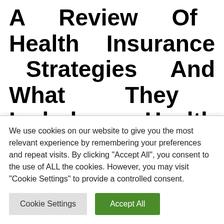A Review Of Health Insurance Strategies And What They Include – Health Insurance Options Other Than Cobra
Several companies offer you wellness intends to their staff. They assist insurance firms to develop a plan that
We use cookies on our website to give you the most relevant experience by remembering your preferences and repeat visits. By clicking "Accept All", you consent to the use of ALL the cookies. However, you may visit "Cookie Settings" to provide a controlled consent.